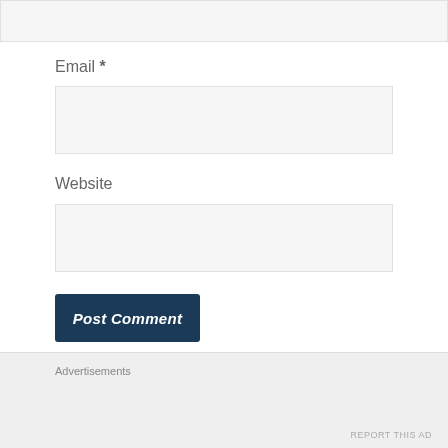[Figure (screenshot): Partially visible text input field at top of page, cut off]
Email *
[Figure (screenshot): Email input text field, empty, light gray background]
Website
[Figure (screenshot): Website input text field, empty, light gray background]
[Figure (screenshot): Post Comment button, dark navy blue with italic bold white text]
Notify me of new comments via email.
Notify me of new posts via email.
Advertisements
REPORT THIS AD